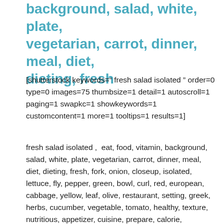background, salad, white, plate, vegetarian, carrot, dinner, meal, diet, dieting, fresh
[shutterstock keywords=" fresh salad isolated " order=0 type=0 images=75 thumbsize=1 detail=1 autoscroll=1 paging=1 swapkc=1 showkeywords=1 customcontent=1 more=1 tooltips=1 results=1]
fresh salad isolated ,  eat, food, vitamin, background, salad, white, plate, vegetarian, carrot, dinner, meal, diet, dieting, fresh, fork, onion, closeup, isolated, lettuce, fly, pepper, green, bowl, curl, red, european, cabbage, yellow, leaf, olive, restaurant, setting, greek, herbs, cucumber, vegetable, tomato, healthy, texture, nutritious, appetizer, cuisine, prepare, calorie, mediterranean, ingredient, menu, health, oil, air ,                    ,       ,       ,       ,       ,       ,       ,       ,       ,               ,       ,       ,                    ,       ,       ,       ,               ,       ,       ,       ,       ,       ,       ,